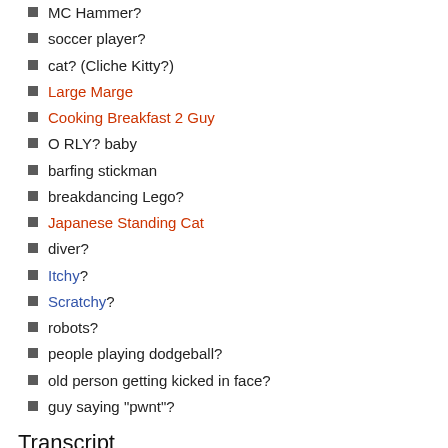MC Hammer?
soccer player?
cat? (Cliche Kitty?)
Large Marge
Cooking Breakfast 2 Guy
O RLY? baby
barfing stickman
breakdancing Lego?
Japanese Standing Cat
diver?
Itchy?
Scratchy?
robots?
people playing dodgeball?
old person getting kicked in face?
guy saying "pwnt"?
Transcript
Lyrics
Loomad ja linnud on minu sõbrad,
nad on tänulikud, et mina olen nende jumal,